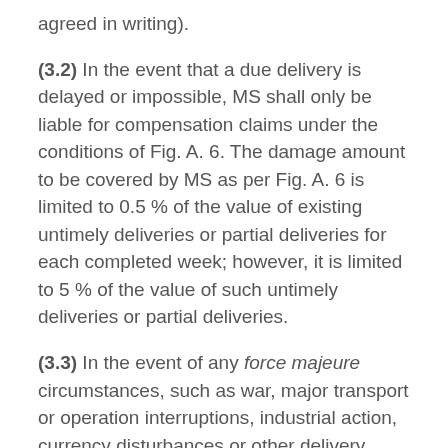agreed in writing).
(3.2) In the event that a due delivery is delayed or impossible, MS shall only be liable for compensation claims under the conditions of Fig. A. 6. The damage amount to be covered by MS as per Fig. A. 6 is limited to 0.5 % of the value of existing untimely deliveries or partial deliveries for each completed week; however, it is limited to 5 % of the value of such untimely deliveries or partial deliveries.
(3.3) In the event of any force majeure circumstances, such as war, major transport or operation interruptions, industrial action, currency disturbances or other delivery problems that are outside the control of MS, as well as a non-delivery or an incorrect or delayed delivery by the supplier